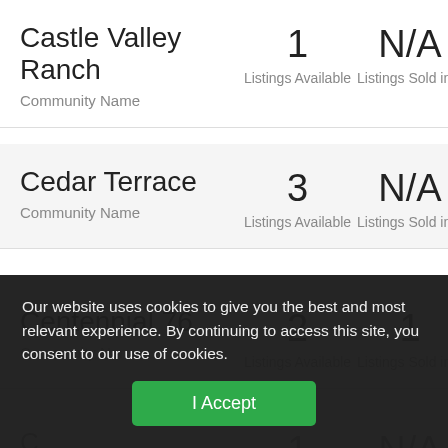Castle Valley Ranch
Community Name
1
Listings Available
N/A
Listings Sold in 2
Cedar Terrace
Community Name
3
Listings Available
N/A
Listings Sold in 2
Centennial 76
Community Name
2
Listings Available
1
Listings Sold in 2
C...
Community Name
1
Available
N/A
Listings Sold in 2
Our website uses cookies to give you the best and most relevant experience. By continuing to access this site, you consent to our use of cookies.
I Accept